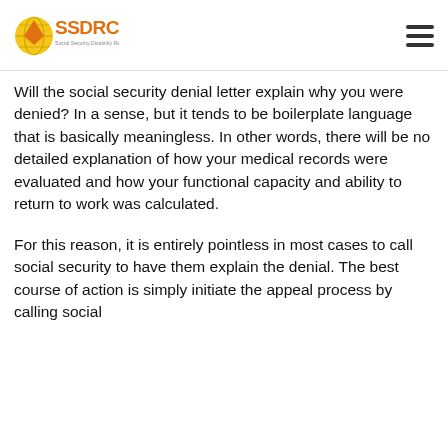SSDRC — Social Security Disability Resource Center
Will the social security denial letter explain why you were denied? In a sense, but it tends to be boilerplate language that is basically meaningless. In other words, there will be no detailed explanation of how your medical records were evaluated and how your functional capacity and ability to return to work was calculated.
For this reason, it is entirely pointless in most cases to call social security to have them explain the denial. The best course of action is simply initiate the appeal process by calling social